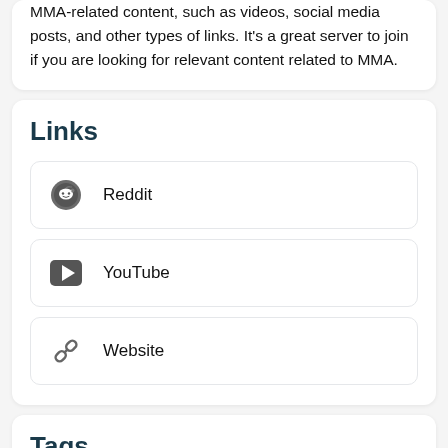MMA-related content, such as videos, social media posts, and other types of links. It's a great server to join if you are looking for relevant content related to MMA.
Links
Reddit
YouTube
Website
Tags